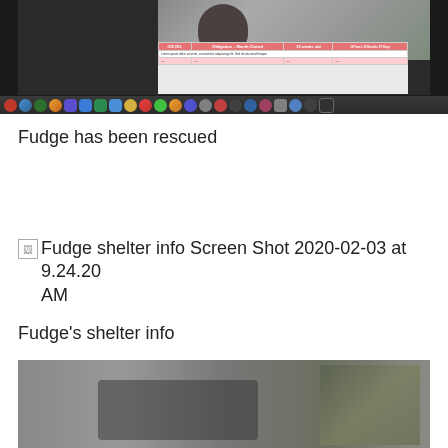[Figure (screenshot): Screenshot of a web page showing a dog photo and a shelter information table with a Mac Dock visible at the bottom]
Fudge has been rescued
[Figure (photo): Broken image placeholder with alt text: Fudge shelter info Screen Shot 2020-02-03 at 9.24.20 AM]
Fudge's shelter info
[Figure (photo): Photo of a person lying down, wearing dark leggings, on what appears to be a couch or surface with camouflage pattern]